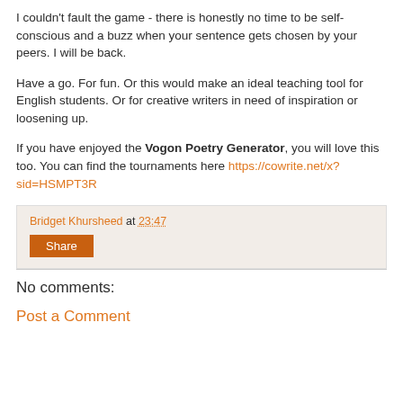I couldn't fault the game - there is honestly no time to be self-conscious and a buzz when your sentence gets chosen by your peers. I will be back.
Have a go. For fun. Or this would make an ideal teaching tool for English students. Or for creative writers in need of inspiration or loosening up.
If you have enjoyed the Vogon Poetry Generator, you will love this too. You can find the tournaments here https://cowrite.net/x?sid=HSMPT3R
Bridget Khursheed at 23:47
Share
No comments:
Post a Comment